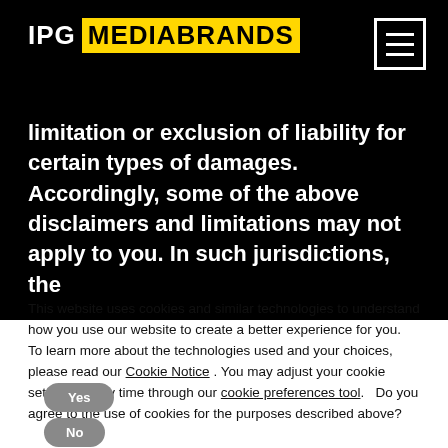IPG MEDIABRANDS
limitation or exclusion of liability for certain types of damages. Accordingly, some of the above disclaimers and limitations may not apply to you. In such jurisdictions, the
This website uses cookies and similar technologies to understand how you use our website to create a better experience for you.  To learn more about the technologies used and your choices, please read our Cookie Notice . You may adjust your cookie settings at any time through our cookie preferences tool.   Do you agree to the use of cookies for the purposes described above?
Yes
No